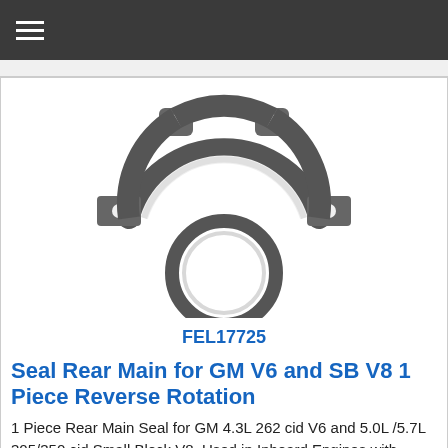☰
[Figure (photo): Product photo of a rear main seal for GM V6 and SB V8 engines. Shows a half-circle retainer plate with bolt holes at the top and a separate full circular seal ring below it. Both parts are shown against a white background.]
FEL17725
Seal Rear Main for GM V6 and SB V8 1 Piece Reverse Rotation
1 Piece Rear Main Seal for GM 4.3L 262 cid V6 and 5.0L /5.7L 305/350 cid Small Block V8, Used in Inboard Engines with Reverse